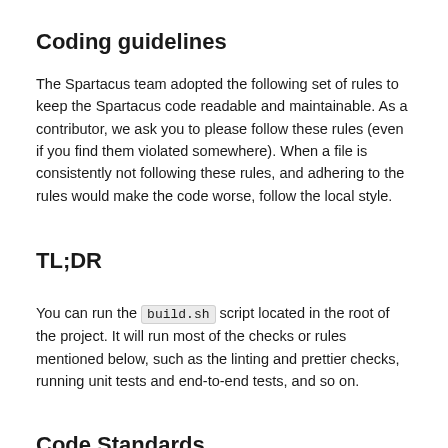Coding guidelines
The Spartacus team adopted the following set of rules to keep the Spartacus code readable and maintainable. As a contributor, we ask you to please follow these rules (even if you find them violated somewhere). When a file is consistently not following these rules, and adhering to the rules would make the code worse, follow the local style.
TL;DR
You can run the build.sh script located in the root of the project. It will run most of the checks or rules mentioned below, such as the linting and prettier checks, running unit tests and end-to-end tests, and so on.
Code Standards